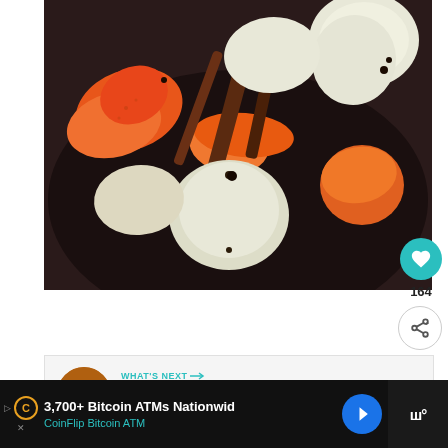[Figure (photo): Overhead view of autumn simmer pot ingredients on a dark surface: sliced apples, orange peels, cloves, and cinnamon sticks arranged in a bowl/pot]
164
[Figure (photo): What's Next section with thumbnail of autumn simmer pot and label 'WHAT'S NEXT → Autumn Simmer Pot']
3,700+ Bitcoin ATMs Nationwid CoinFlip Bitcoin ATM